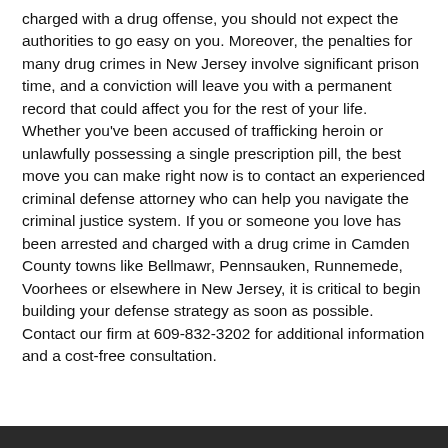charged with a drug offense, you should not expect the authorities to go easy on you. Moreover, the penalties for many drug crimes in New Jersey involve significant prison time, and a conviction will leave you with a permanent record that could affect you for the rest of your life. Whether you've been accused of trafficking heroin or unlawfully possessing a single prescription pill, the best move you can make right now is to contact an experienced criminal defense attorney who can help you navigate the criminal justice system. If you or someone you love has been arrested and charged with a drug crime in Camden County towns like Bellmawr, Pennsauken, Runnemede, Voorhees or elsewhere in New Jersey, it is critical to begin building your defense strategy as soon as possible. Contact our firm at 609-832-3202 for additional information and a cost-free consultation.